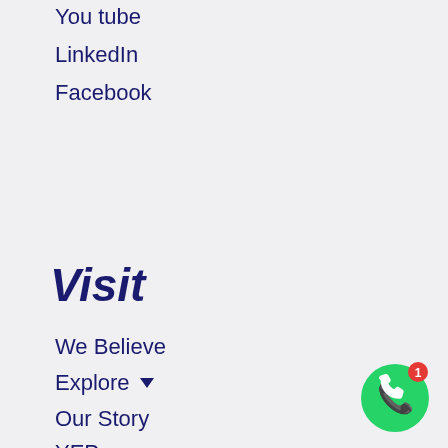You tube
LinkedIn
Facebook
Visit
We Believe
Explore ▼
Our Story
YEP ▼
[Figure (illustration): WhatsApp contact button - green circle with white phone handset icon and red notification badge showing '1']